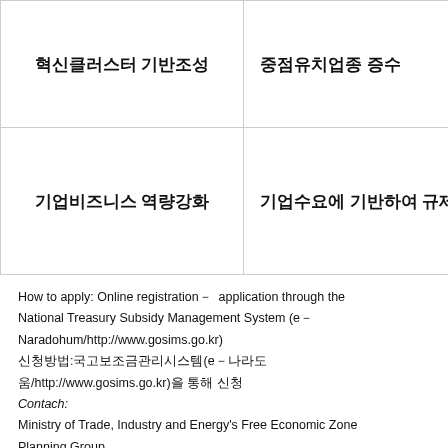| 혁신클러스터 기반조성 | 중점유치업종 증수 |
| 기업비즈니스 역량강화 | 기업수요에 기반하여 규제특례 ㅈ |
How to apply: Online registration－ application through the National Treasury Subsidy Management System (e－Naradohum/http://www.gosims.go.kr)
신청방법:국고보조금관리시스템(e－나라도움/http://www.gosims.go.kr)을 통해 신청
Contach:
Ministry of Trade, Industry and Energy's Free Economic Zone Planning Group